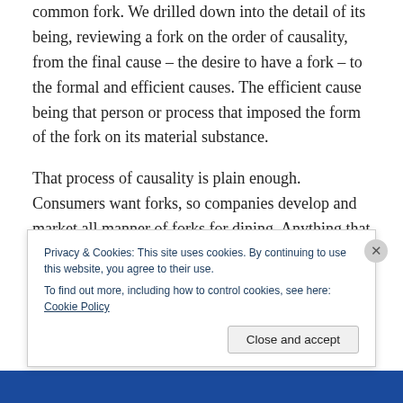common fork.  We drilled down into the detail of its being, reviewing a fork on the order of causality, from the final cause – the desire to have a fork – to the formal and efficient causes.  The efficient cause being that person or process that imposed the form of the fork on its material substance.
That process of causality is plain enough.  Consumers want forks, so companies develop and market all manner of forks for dining.  Anything that is “man-made” follows this same path: some need arises, a concept for its
Privacy & Cookies: This site uses cookies. By continuing to use this website, you agree to their use.
To find out more, including how to control cookies, see here: Cookie Policy